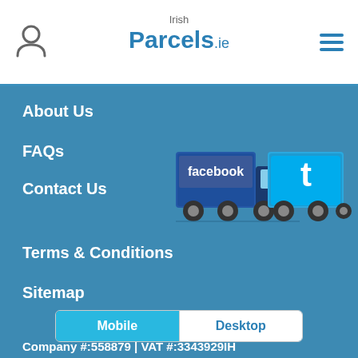Irish Parcels.ie
About Us
FAQs
Contact Us
[Figure (illustration): Two delivery trucks — one branded with Facebook logo, one with Twitter logo]
Terms & Conditions
Sitemap
Company #:558879 | VAT #:3343929IH
Copyright 2022 Irish Parcels
Back to top
Mobile   Desktop